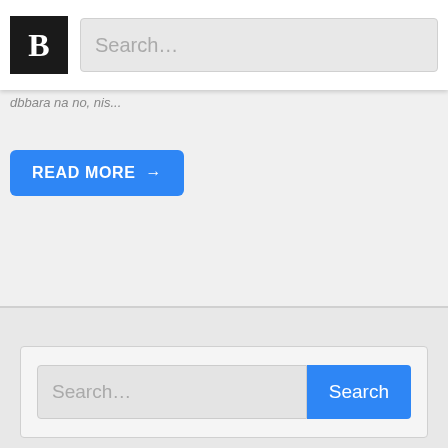[Figure (screenshot): Top navigation bar with a black logo box containing letter B and a search input field with placeholder text 'Search...']
dbbara na no, nis...
[Figure (screenshot): Blue 'READ MORE →' button]
[Figure (screenshot): Pagination widget showing 'Previous page | 1 | 2' where 2 is highlighted in blue]
[Figure (screenshot): Search widget with input field placeholder 'Search...' and a blue 'Search' button]